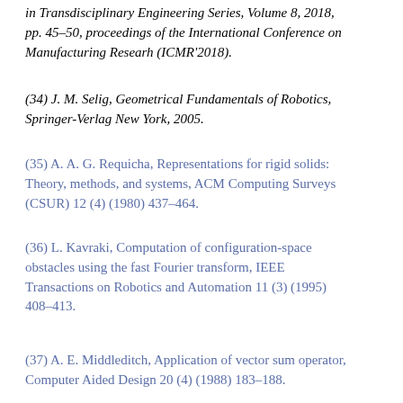in Transdisciplinary Engineering Series, Volume 8, 2018, pp. 45–50, proceedings of the International Conference on Manufacturing Researh (ICMR'2018).
(34) J. M. Selig, Geometrical Fundamentals of Robotics, Springer-Verlag New York, 2005.
(35) A. A. G. Requicha, Representations for rigid solids: Theory, methods, and systems, ACM Computing Surveys (CSUR) 12 (4) (1980) 437–464.
(36) L. Kavraki, Computation of configuration-space obstacles using the fast Fourier transform, IEEE Transactions on Robotics and Automation 11 (3) (1995) 408–413.
(37) A. E. Middleditch, Application of vector sum operator, Computer Aided Design 20 (4) (1988) 183–188.